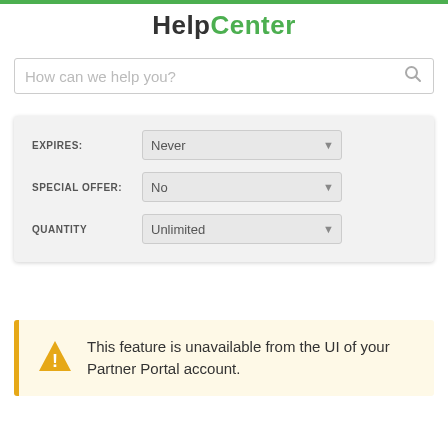HelpCenter
[Figure (screenshot): Search bar with placeholder text 'How can we help you?' and a search icon]
[Figure (screenshot): Form panel with three fields: EXPIRES (Never), SPECIAL OFFER (No), QUANTITY (Unlimited)]
This feature is unavailable from the UI of your Partner Portal account.